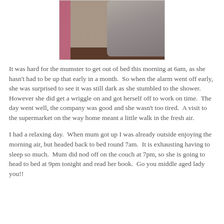[Figure (photo): Photo of a grey fluffy cat on a patterned carpet/rug with a pink edge and wooden floor visible at bottom]
It was hard for the mumster to get out of bed this morning at 6am, as she hasn't had to be up that early in a month.  So when the alarm went off early, she was surprised to see it was still dark as she stumbled to the shower.  However she did get a wriggle on and got herself off to work on time.  The day went well, the company was good and she wasn't too tired.  A visit to the supermarket on the way home meant a little walk in the fresh air.
I had a relaxing day.  When mum got up I was already outside enjoying the morning air, but headed back to bed round 7am.  It is exhausting having to sleep so much.  Mum did nod off on the couch at 7pm, so she is going to head to bed at 9pm tonight and read her book.  Go you middle aged lady you!!